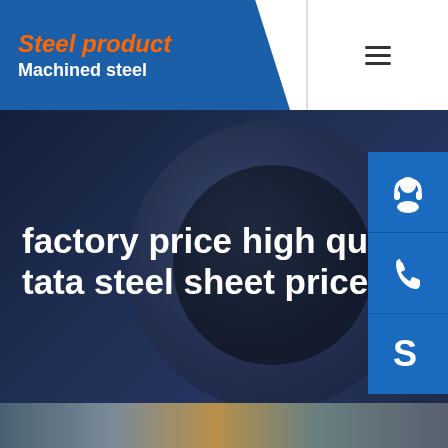Steel product / Machined steel
factory price high quality tata steel sheet price
[Figure (infographic): Three blue square icon buttons on the right side: customer service (headset icon), phone (telephone icon), and Skype (S logo icon)]
Home / factory price high quality tata steel sheet price
[Figure (photo): Partial image at the bottom of a steel manufacturing or industrial setting]